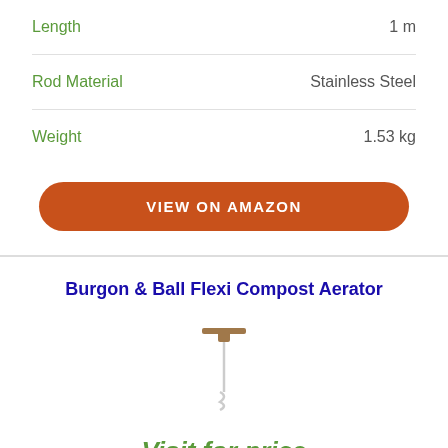| Attribute | Value |
| --- | --- |
| Length | 1 m |
| Rod Material | Stainless Steel |
| Weight | 1.53 kg |
VIEW ON AMAZON
Burgon & Ball Flexi Compost Aerator
[Figure (photo): Burgon & Ball Flexi Compost Aerator product image showing a long handle with a corkscrew tip]
Visit for price
amazon.co.uk
BUY